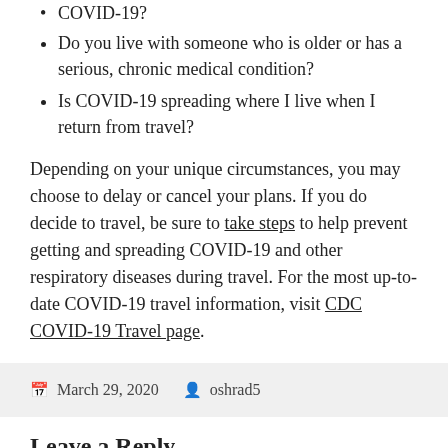COVID-19?
Do you live with someone who is older or has a serious, chronic medical condition?
Is COVID-19 spreading where I live when I return from travel?
Depending on your unique circumstances, you may choose to delay or cancel your plans. If you do decide to travel, be sure to take steps to help prevent getting and spreading COVID-19 and other respiratory diseases during travel. For the most up-to-date COVID-19 travel information, visit CDC COVID-19 Travel page.
March 29, 2020  oshrad5
Leave a Reply